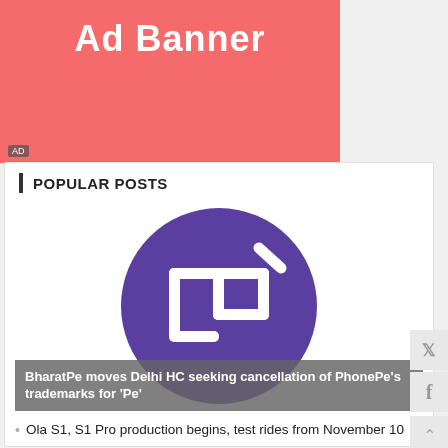[Figure (other): Ad banner placeholder — salmon/coral pink background with white bold text 'Ad Banner' and a small 'AD' label in the bottom-left corner.]
POPULAR POSTS
[Figure (logo): PhonePe logo: white Pe (Indian rupee-style) symbol on a purple circle, with 'PhonePe' text partially visible at the bottom of the image block.]
BharatPe moves Delhi HC seeking cancellation of PhonePe's trademarks for 'Pe'
Ola S1, S1 Pro production begins, test rides from November 10